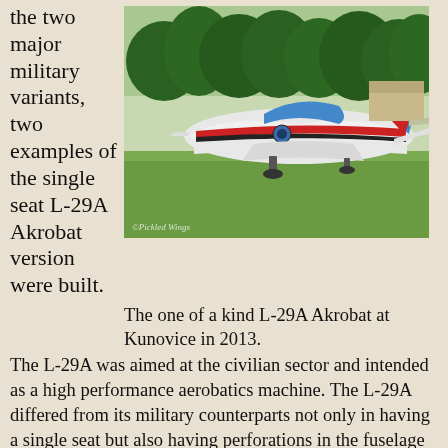the two major military variants, two examples of the single seat L-29A Akrobat version were built.
[Figure (photo): Photo of an L-29A Akrobat aircraft with blue, white, and red livery parked on grass at Kunovice in 2013, trees visible in background. Photo credit: Pickled Wings.]
The one of a kind L-29A Akrobat at Kunovice in 2013.
The L-29A was aimed at the civilian sector and intended as a high performance aerobatics machine. The L-29A differed from its military counterparts not only in having a single seat but also having perforations in the fuselage mounted speed brakes.